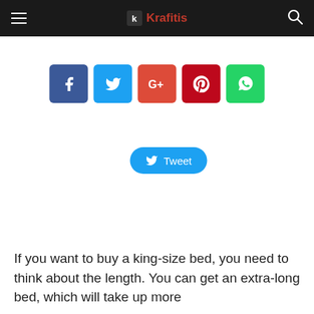Krafitis
[Figure (screenshot): Social media share buttons row: Facebook (blue), Twitter (light blue), Google+ (red), Pinterest (dark red), WhatsApp (green)]
[Figure (screenshot): Twitter Tweet button in cyan/blue rounded pill shape]
If you want to buy a king-size bed, you need to think about the length. You can get an extra-long bed, which will take up more